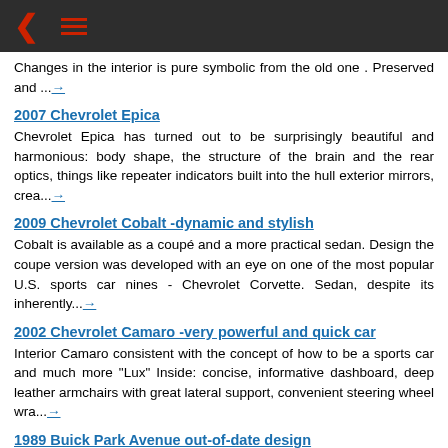< ≡
Changes in the interior is pure symbolic from the old one . Preserved and ...→
2007 Chevrolet Epica
Chevrolet Epica has turned out to be surprisingly beautiful and harmonious: body shape, the structure of the brain and the rear optics, things like repeater indicators built into the hull exterior mirrors, crea...→
2009 Chevrolet Cobalt -dynamic and stylish
Cobalt is available as a coupé and a more practical sedan. Design the coupe version was developed with an eye on one of the most popular U.S. sports car nines - Chevrolet Corvette. Sedan, despite its inherently...→
2002 Chevrolet Camaro -very powerful and quick car
Interior Camaro consistent with the concept of how to be a sports car and much more "Lux" Inside: concise, informative dashboard, deep leather armchairs with great lateral support, convenient steering wheel wra...→
1989 Buick Park Avenue out-of-date design
Very old-fashionable and decrepit car which didn't lose its credit with time of heavy use. It was our family car and every member loves it without any disdain.